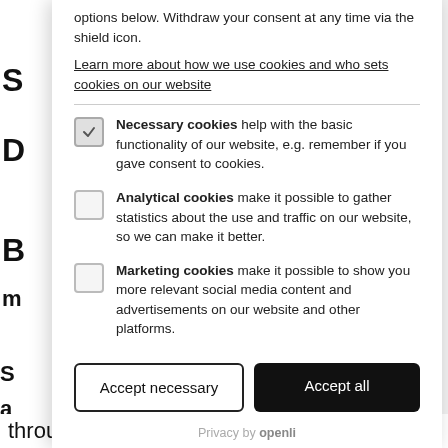options below. Withdraw your consent at any time via the shield icon.
Learn more about how we use cookies and who sets cookies on our website
Necessary cookies help with the basic functionality of our website, e.g. remember if you gave consent to cookies.
Analytical cookies make it possible to gather statistics about the use and traffic on our website, so we can make it better.
Marketing cookies make it possible to show you more relevant social media content and advertisements on our website and other platforms.
Accept necessary
Accept all
Privacy by openli
through 2020. The coalition's CEO.